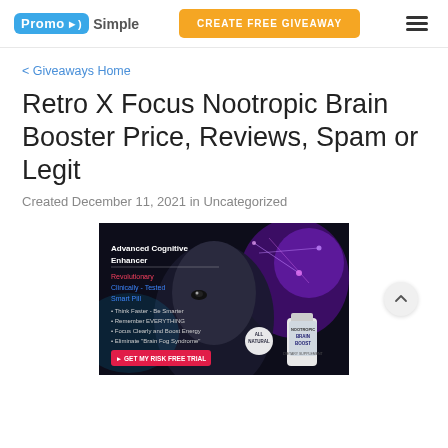PromoSimple | CREATE FREE GIVEAWAY
< Giveaways Home
Retro X Focus Nootropic Brain Booster Price, Reviews, Spam or Legit
Created December 11, 2021 in Uncategorized
[Figure (photo): Product advertisement image for Retro X Focus Nootropic Brain Booster showing a man's face with brain neural imagery, text 'Advanced Cognitive Enhancer', 'Revolutionary', 'Clinically-Tested', 'Smart Pill', bullet points about benefits, a GET MY RISK FREE TRIAL button, and a bottle of Nootropic Brain Boost supplement.]